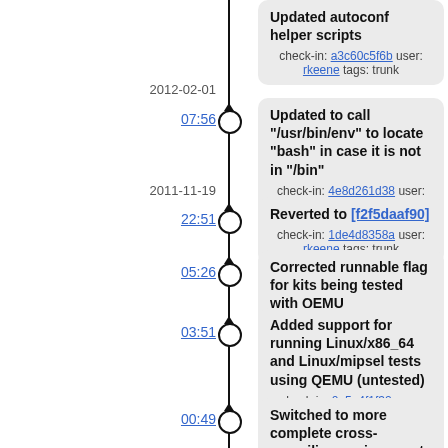Updated autoconf helper scripts
check-in: a3c60c5f6b user: rkeene tags: trunk
2012-02-01
07:56
Updated to call "/usr/bin/env" to locate "bash" in case it is not in "/bin"
check-in: 4e8d261d38 user: rkeene tags: trunk
2011-11-19
22:51
Reverted to [f2f5daaf90]
check-in: 1de4d8358a user: rkeene tags: trunk
05:26
Corrected runnable flag for kits being tested with QEMU
check-in: 344f8a902c user: rkeene tags: trunk
03:51
Added support for running Linux/x86_64 and Linux/mipsel tests using QEMU (untested)
check-in: 0e5e4f1f32 user: rkeene tags: trunk
00:49
Switched to more complete cross-compiling environment for Linux/x86_64